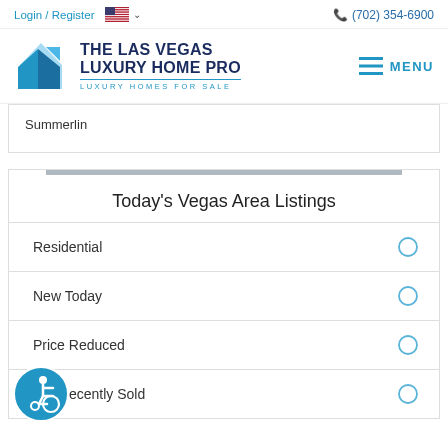Login / Register  (702) 354-6900
[Figure (logo): The Las Vegas Luxury Home Pro logo with blue house icon and text 'THE LAS VEGAS LUXURY HOME PRO / LUXURY HOMES FOR SALE']
Summerlin
Today's Vegas Area Listings
Residential
New Today
Price Reduced
Recently Sold